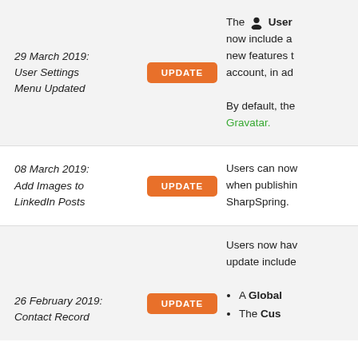29 March 2019: User Settings Menu Updated
[Figure (other): UPDATE badge button (orange rounded rectangle)]
The User [icon] now include a new features t account, in ad By default, the Gravatar.
08 March 2019: Add Images to LinkedIn Posts
[Figure (other): UPDATE badge button (orange rounded rectangle)]
Users can now when publishin SharpSpring.
Users now hav update include
26 February 2019: Contact Record
[Figure (other): UPDATE badge button (orange rounded rectangle)]
A Global
The Cus